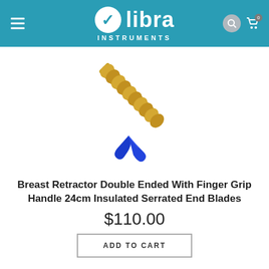Libra Instruments
[Figure (photo): Close-up photo of a surgical breast retractor with a gold/titanium serrated handle and a blue insulated double-ended tip, shown against a white background.]
Breast Retractor Double Ended With Finger Grip Handle 24cm Insulated Serrated End Blades
$110.00
ADD TO CART